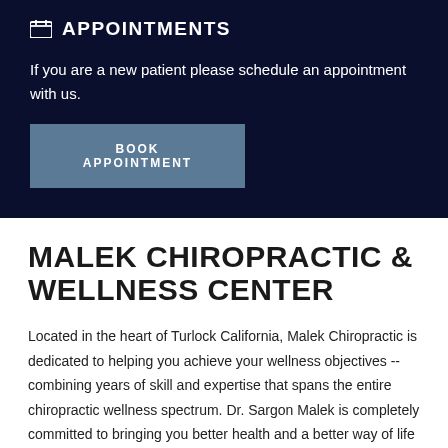APPOINTMENTS
If you are a new patient please schedule an appointment with us.
BOOK APPOINTMENT
MALEK CHIROPRACTIC & WELLNESS CENTER
Located in the heart of Turlock California, Malek Chiropractic is dedicated to helping you achieve your wellness objectives -- combining years of skill and expertise that spans the entire chiropractic wellness spectrum. Dr. Sargon Malek is completely committed to bringing you better health and a better way of life using the most advanced chiropractic wellness...